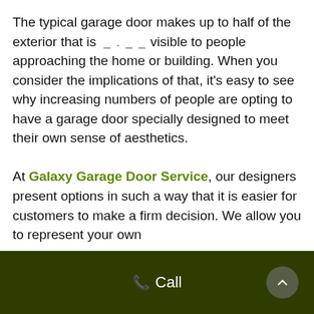The typical garage door makes up to half of the exterior that is _ . _ _ visible to people approaching the home or building. When you consider the implications of that, it's easy to see why increasing numbers of people are opting to have a garage door specially designed to meet their own sense of aesthetics.

At Galaxy Garage Door Service, our designers present options in such a way that it is easier for customers to make a firm decision. We allow you to represent your own
📞 Call